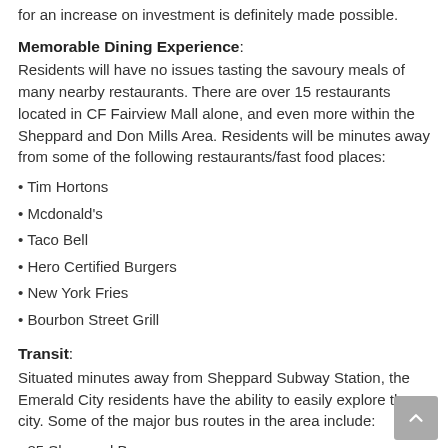for an increase on investment is definitely made possible.
Memorable Dining Experience:
Residents will have no issues tasting the savoury meals of many nearby restaurants. There are over 15 restaurants located in CF Fairview Mall alone, and even more within the Sheppard and Don Mills Area. Residents will be minutes away from some of the following restaurants/fast food places:
• Tim Hortons
• Mcdonald's
• Taco Bell
• Hero Certified Burgers
• New York Fries
• Bourbon Street Grill
Transit:
Situated minutes away from Sheppard Subway Station, the Emerald City residents have the ability to easily explore the city. Some of the major bus routes in the area include:
• 85 Sheppard Bus
• 25 Don Mills Bus
• 185 Don Mills Bus
• 385 Sheppard Bus